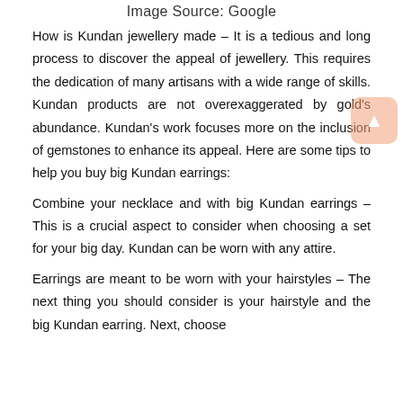Image Source: Google
How is Kundan jewellery made – It is a tedious and long process to discover the appeal of jewellery. This requires the dedication of many artisans with a wide range of skills. Kundan products are not overexaggerated by gold's abundance. Kundan's work focuses more on the inclusion of gemstones to enhance its appeal. Here are some tips to help you buy big Kundan earrings:
Combine your necklace and with big Kundan earrings – This is a crucial aspect to consider when choosing a set for your big day. Kundan can be worn with any attire.
Earrings are meant to be worn with your hairstyles – The next thing you should consider is your hairstyle and the big Kundan earring. Next, choose